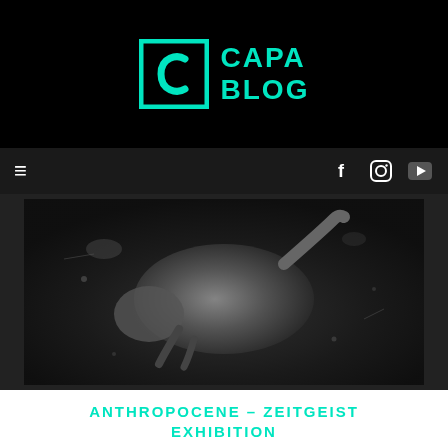CAPA BLOG
[Figure (logo): CAPA BLOG logo with teal C icon in square bracket and teal text CAPA BLOG on black background]
[Figure (photo): Black and white photograph of a dead animal (appears to be a cat or small mammal) floating in dark water with debris]
ANTHROPOCENE – ZEITGEIST EXHIBITION